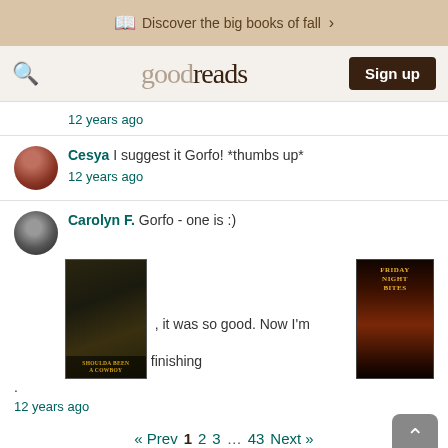Discover the big books of fall >
goodreads  Sign up
12 years ago
Cesya I suggest it Gorfo! *thumbs up*
12 years ago
Carolyn F. Gorfo - one is :)
[Figure (photo): Book cover: Shoulda Been A Cowboy]
[Figure (photo): Book cover: Friday Night Bites]
I finished , it was so good. Now I'm finishing .
12 years ago
« Prev  1  2  3  ...  43  Next »